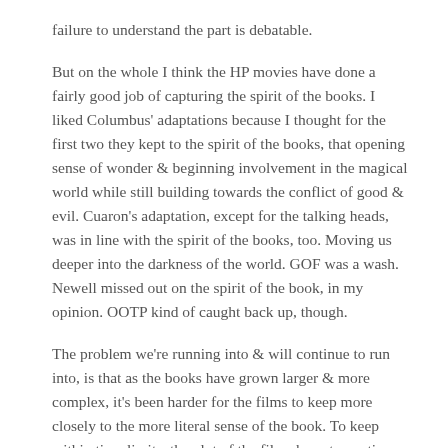failure to understand the part is debatable.
But on the whole I think the HP movies have done a fairly good job of capturing the spirit of the books. I liked Columbus' adaptations because I thought for the first two they kept to the spirit of the books, that opening sense of wonder & beginning involvement in the magical world while still building towards the conflict of good & evil. Cuaron's adaptation, except for the talking heads, was in line with the spirit of the books, too. Moving us deeper into the darkness of the world. GOF was a wash. Newell missed out on the spirit of the book, in my opinion. OOTP kind of caught back up, though.
The problem we're running into & will continue to run into, is that as the books have grown larger & more complex, it's been harder for the films to keep more closely to the more literal sense of the book. To keep within time limits, the plot of the films have to continue to be stripped down further & further to just the bare salient points. Which ends up missing a lot of the character development & complexity of the world.